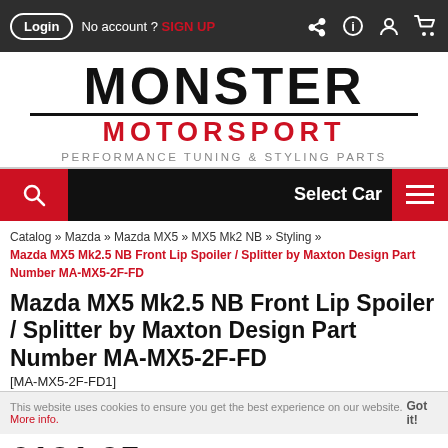Login  No account ? SIGN UP
[Figure (logo): Monster Motorsport logo with PERFORMANCE TUNING & STYLING PARTS tagline]
Select Car
Catalog » Mazda » Mazda MX5 » MX5 Mk2 NB » Styling » Mazda MX5 Mk2.5 NB Front Lip Spoiler / Splitter by Maxton Design Part Number MA-MX5-2F-FD
Mazda MX5 Mk2.5 NB Front Lip Spoiler / Splitter by Maxton Design Part Number MA-MX5-2F-FD
[MA-MX5-2F-FD1]
This website uses cookies to ensure you get the best experience on our website. More info. Got it!
£131.95 inc. 20% VAT